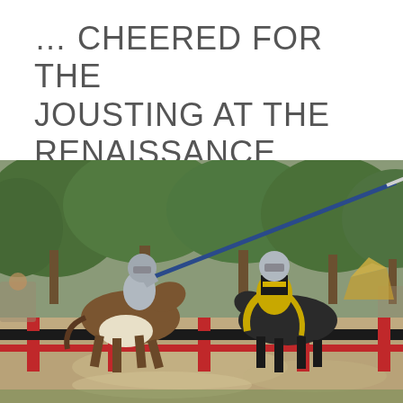… CHEERED FOR THE JOUSTING AT THE RENAISSANCE FAIRE
[Figure (photo): Two armored knights on horseback jousting at a Renaissance Faire. One knight in silver armor on a brown-and-white horse thrusts a lance toward the other knight dressed in black and yellow armor on a dark horse. A red-and-black wooden barrier separates the two jousters. Spectators and green trees are visible in the background.]